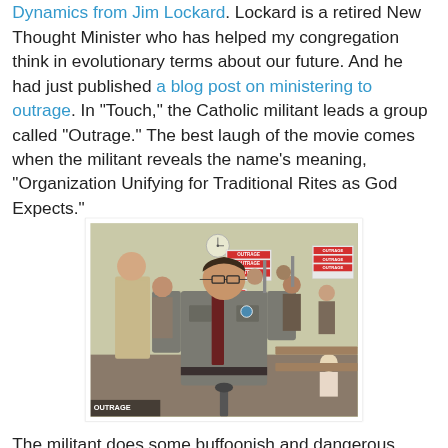Dynamics from Jim Lockard. Lockard is a retired New Thought Minister who has helped my congregation think in evolutionary terms about our future. And he had just published a blog post on ministering to outrage. In "Touch," the Catholic militant leads a group called "Outrage." The best laugh of the movie comes when the militant reveals the name's meaning, "Organization Unifying for Traditional Rites as God Expects."
[Figure (photo): A still from the movie 'Touch' showing a heavyset man in a gray uniform standing at a microphone in what appears to be a courtroom or hearing room. People holding signs that read 'OUTRAGE' are visible in the background.]
The militant does some buffoonish and dangerous acts. Yet the movie lends him some dignity for the caring behind his